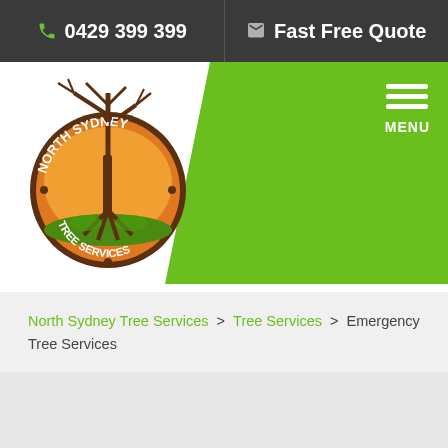0429 399 399 | Fast Free Quote
[Figure (logo): North Sydney Tree Services logo — bare tree with roots over an orange/green circular badge with text 'NORTH SYDNEY TREE SERVICES']
MENU
North Sydney Tree Services > Tree Services > Emergency Tree Services